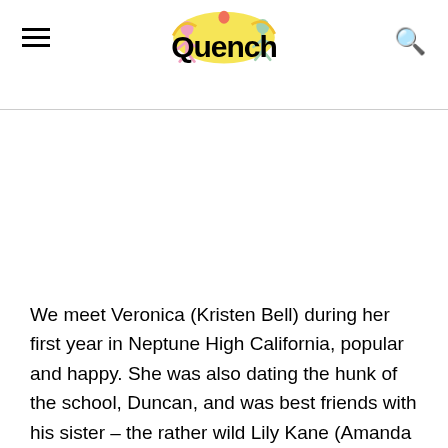Quench
We meet Veronica (Kristen Bell) during her first year in Neptune High California, popular and happy. She was also dating the hunk of the school, Duncan, and was best friends with his sister – the rather wild Lily Kane (Amanda Seyfried). But it all went downhill when Lily Kane is presumed dead and no one can find the killer. Veronica's father, the then Sheriff Keith Mars (Enrico Colantoni) is voted out of his job for